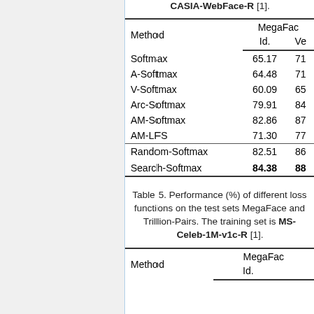CASIA-WebFace-R [1].
| Method | MegaFace Id. | MegaFace Ve... |
| --- | --- | --- |
| Softmax | 65.17 | 71... |
| A-Softmax | 64.48 | 71... |
| V-Softmax | 60.09 | 65... |
| Arc-Softmax | 79.91 | 84... |
| AM-Softmax | 82.86 | 87... |
| AM-LFS | 71.30 | 77... |
| Random-Softmax | 82.51 | 86... |
| Search-Softmax | 84.38 | 88... |
Table 5. Performance (%) of different loss functions on the test sets MegaFace and Trillion-Pairs. The training set is MS-Celeb-1M-v1c-R [1].
| Method | MegaFace Id.... |
| --- | --- |